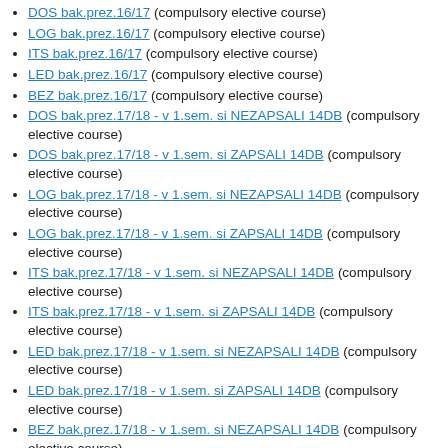DOS bak.prez.16/17 (compulsory elective course)
LOG bak.prez.16/17 (compulsory elective course)
ITS bak.prez.16/17 (compulsory elective course)
LED bak.prez.16/17 (compulsory elective course)
BEZ bak.prez.16/17 (compulsory elective course)
DOS bak.prez.17/18 - v 1.sem. si NEZAPSALI 14DB (compulsory elective course)
DOS bak.prez.17/18 - v 1.sem. si ZAPSALI 14DB (compulsory elective course)
LOG bak.prez.17/18 - v 1.sem. si NEZAPSALI 14DB (compulsory elective course)
LOG bak.prez.17/18 - v 1.sem. si ZAPSALI 14DB (compulsory elective course)
ITS bak.prez.17/18 - v 1.sem. si NEZAPSALI 14DB (compulsory elective course)
ITS bak.prez.17/18 - v 1.sem. si ZAPSALI 14DB (compulsory elective course)
LED bak.prez.17/18 - v 1.sem. si NEZAPSALI 14DB (compulsory elective course)
LED bak.prez.17/18 - v 1.sem. si ZAPSALI 14DB (compulsory elective course)
BEZ bak.prez.17/18 - v 1.sem. si NEZAPSALI 14DB (compulsory elective course)